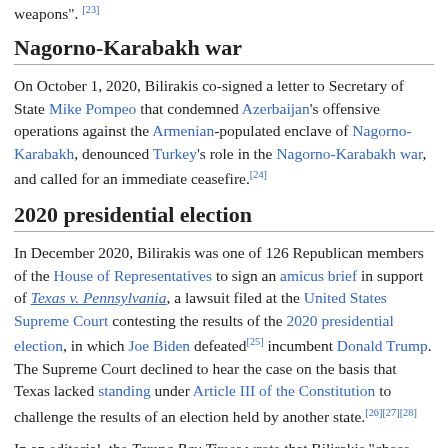weapons".[23]
Nagorno-Karabakh war
On October 1, 2020, Bilirakis co-signed a letter to Secretary of State Mike Pompeo that condemned Azerbaijan's offensive operations against the Armenian-populated enclave of Nagorno-Karabakh, denounced Turkey's role in the Nagorno-Karabakh war, and called for an immediate ceasefire.[24]
2020 presidential election
In December 2020, Bilirakis was one of 126 Republican members of the House of Representatives to sign an amicus brief in support of Texas v. Pennsylvania, a lawsuit filed at the United States Supreme Court contesting the results of the 2020 presidential election, in which Joe Biden defeated[25] incumbent Donald Trump. The Supreme Court declined to hear the case on the basis that Texas lacked standing under Article III of the Constitution to challenge the results of an election held by another state.[26][27][28]
In an editorial, the Tampa Bay Times wrote that Bilirakis "chose partisan games over national interest". The Orlando Sentinel published an editorial calling the signers of the amicus brief a